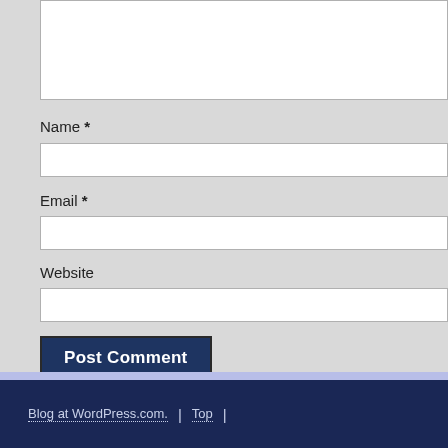[Figure (screenshot): Partial web form showing a comment textarea (top), Name field with asterisk, Email field with asterisk, Website field, a dark blue Post Comment button, and two checkbox options for email notifications.]
Name *
Email *
Website
Post Comment
Notify me of new comments via email.
Notify me of new posts via email.
Blog at WordPress.com. | Top |